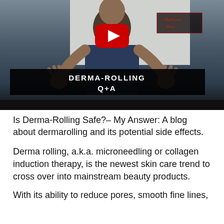[Figure (screenshot): YouTube video thumbnail showing a person in dark clothing with hands raised, with a red YouTube play button overlay. A black title bar reads 'DERMA-ROLLING Q+A' in white bold letters. A 'HairLoss Show' logo appears in the top right. A dark player bar is at the bottom.]
Is Derma-Rolling Safe?– My Answer: A blog about dermarolling and its potential side effects.
Derma rolling, a.k.a. microneedling or collagen induction therapy, is the newest skin care trend to cross over into mainstream beauty products.
With its ability to reduce pores, smooth fine lines,